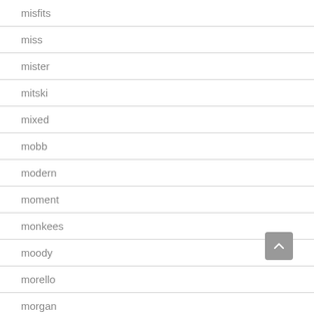misfits
miss
mister
mitski
mixed
mobb
modern
moment
monkees
moody
morello
morgan